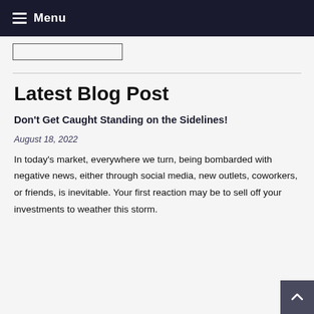Menu
Latest Blog Post
Don't Get Caught Standing on the Sidelines!
August 18, 2022
In today's market, everywhere we turn, being bombarded with negative news, either through social media, new outlets, coworkers, or friends, is inevitable. Your first reaction may be to sell off your investments to weather this storm.